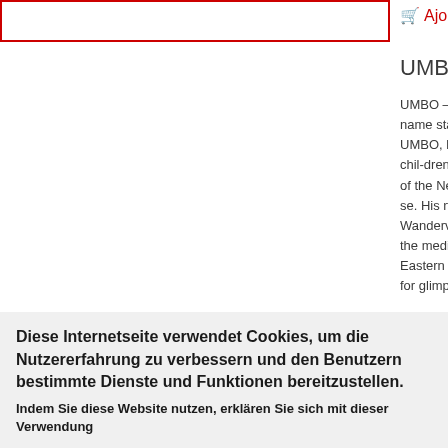[Figure (screenshot): Red-bordered empty input/search box in the upper left area of the page]
Ajoute
UMBO –
UMBO – a name sta UMBO, b chil-dren of the Ne se. His na Wandervo the media Eastern E for glimps
Diese Internetseite verwendet Cookies, um die Nutzererfahrung zu verbessern und den Benutzern bestimmte Dienste und Funktionen bereitzustellen.
Indem Sie diese Website nutzen, erklären Sie sich mit dieser Verwendung